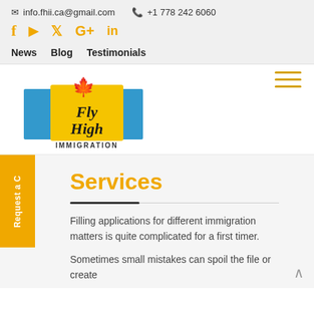info.fhii.ca@gmail.com   +1 778 242 6060
[Figure (logo): Social media icons: Facebook, YouTube, Twitter, Google+, LinkedIn in orange/yellow color]
News   Blog   Testimonials
[Figure (logo): Fly High Immigration logo: yellow square with cursive 'Fly High' text, red maple leaf on top, blue rectangles on sides, 'IMMIGRATION' text below]
Request a C
Services
Filling applications for different immigration matters is quite complicated for a first timer.
Sometimes small mistakes can spoil the file or create